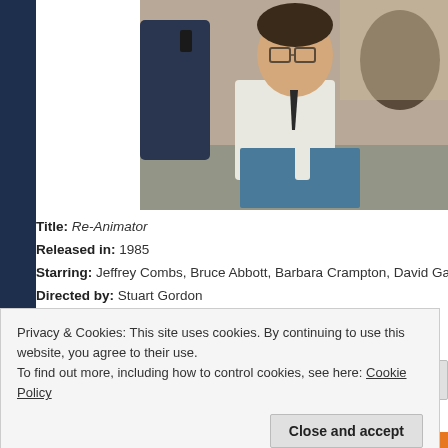[Figure (photo): Movie still from Re-Animator (1985) showing a man with glasses in a white shirt and tie sitting at a desk, with other people in background]
Title: Re-Animator
Released in: 1985
Starring: Jeffrey Combs, Bruce Abbott, Barbara Crampton, David Gale,
Directed by: Stuart Gordon
Written by: Dennis Paoli, William Norris, and Stuart Gordon
Based On: Herbert West, Re-Animator by HP Lovecraft
Remake/reimagining/sequel?: No
Privacy & Cookies: This site uses cookies. By continuing to use this website, you agree to their use.
To find out more, including how to control cookies, see here: Cookie Policy
Close and accept